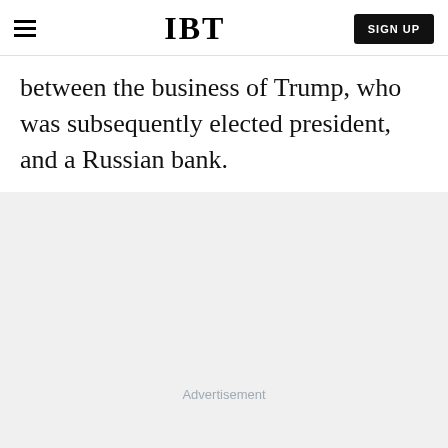IBT
between the business of Trump, who was subsequently elected president, and a Russian bank.
Advertisement